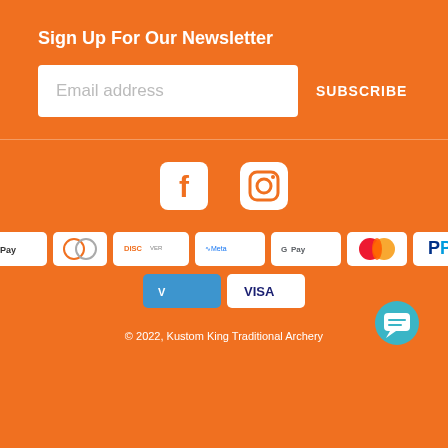Sign Up For Our Newsletter
Email address
SUBSCRIBE
[Figure (infographic): Social media icons: Facebook (f) and Instagram (camera/circle) in white on orange background]
[Figure (infographic): Payment method icons: American Express, Apple Pay, Diners Club, Discover, Meta Pay, Google Pay, Mastercard, PayPal, Shop Pay, Venmo, Visa]
© 2022, Kustom King Traditional Archery